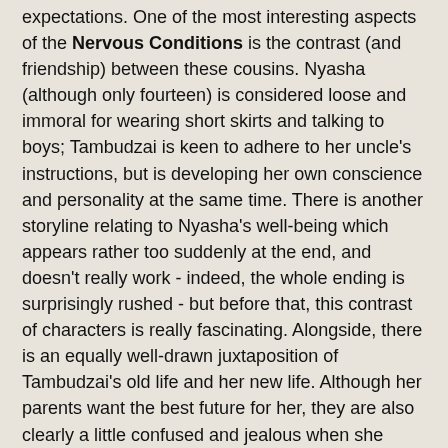expectations.  One of the most interesting aspects of the Nervous Conditions is the contrast (and friendship) between these cousins.  Nyasha (although only fourteen) is considered loose and immoral for wearing short skirts and talking to boys; Tambudzai is keen to adhere to her uncle's instructions, but is developing her own conscience and personality at the same time.  There is another storyline relating to Nyasha's well-being which appears rather too suddenly at the end, and doesn't really work - indeed, the whole ending is surprisingly rushed - but before that, this contrast of characters is really fascinating.  Alongside, there is an equally well-drawn juxtaposition of Tambudzai's old life and her new life.  Although her parents want the best future for her, they are also clearly a little confused and jealous when she visits with a developing outlook on life.  It's done very subtly, for the most part, and you can tell that the novel is semi-autobiographical.
Indeed, this is probably one of the reasons I enjoyed Nervous Conditions so much.  If you've been reading SiaB for a while, you probably know that I don't like books set in countries which the author isn't from, or doesn't know well.